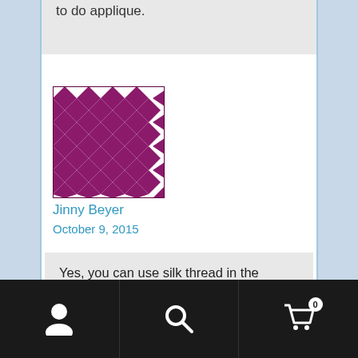to do applique.
[Figure (illustration): Purple and white diamond/checkerboard quilt pattern avatar icon]
Jinny Beyer
October 9, 2015
Yes, you can use silk thread in the machine. None of us here in the Studio have done any machine applique with it. Give it a try and tell us what you think. It is also amazing
[Figure (screenshot): Mobile navigation bar with person icon, search icon, and cart icon with badge showing 0]